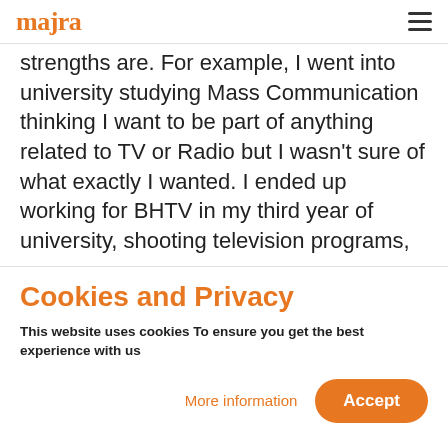majra
strengths are. For example, I went into university studying Mass Communication thinking I want to be part of anything related to TV or Radio but I wasn't sure of what exactly I wanted. I ended up working for BHTV in my third year of university, shooting television programs,
Cookies and Privacy
This website uses cookies To ensure you get the best experience with us
More information   Accept